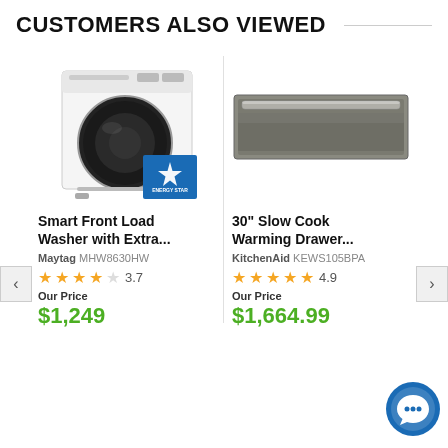CUSTOMERS ALSO VIEWED
[Figure (photo): Maytag Smart Front Load Washer, white, with Energy Star badge]
[Figure (photo): KitchenAid 30-inch Slow Cook Warming Drawer, slate/gray finish]
Smart Front Load Washer with Extra...
30" Slow Cook Warming Drawer...
Maytag MHW8630HW
KitchenAid KEWS105BPA
3.7
4.9
Our Price
$1,249
Our Price
$1,664.99